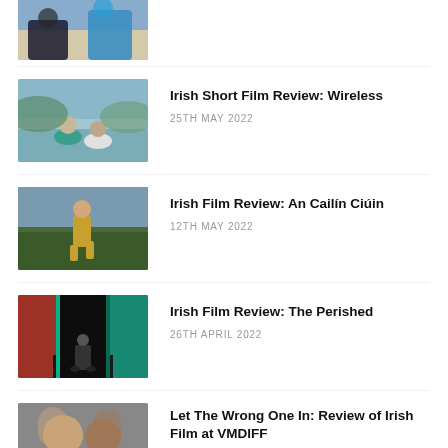[Figure (photo): Partial thumbnail of people on a beach, cropped at top]
[Figure (photo): Two people seen from behind on water with teal inflatable]
Irish Short Film Review: Wireless
25TH MAY 2022
[Figure (photo): Girl in yellow dress running outdoors]
Irish Film Review: An Cailín Ciúin
12TH MAY 2022
[Figure (photo): Dark corridor with colourful lights and a figure]
Irish Film Review: The Perished
26TH APRIL 2022
[Figure (photo): Two people facing camera, partially visible]
Let The Wrong One In: Review of Irish Film at VMDIFF